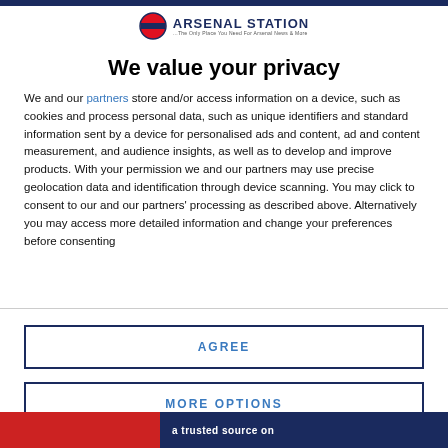[Figure (logo): Arsenal Station logo with London Underground roundel icon and text 'ARSENAL STATION - The Only Place You Need For Arsenal News & More']
We value your privacy
We and our partners store and/or access information on a device, such as cookies and process personal data, such as unique identifiers and standard information sent by a device for personalised ads and content, ad and content measurement, and audience insights, as well as to develop and improve products. With your permission we and our partners may use precise geolocation data and identification through device scanning. You may click to consent to our and our partners' processing as described above. Alternatively you may access more detailed information and change your preferences before consenting
AGREE
MORE OPTIONS